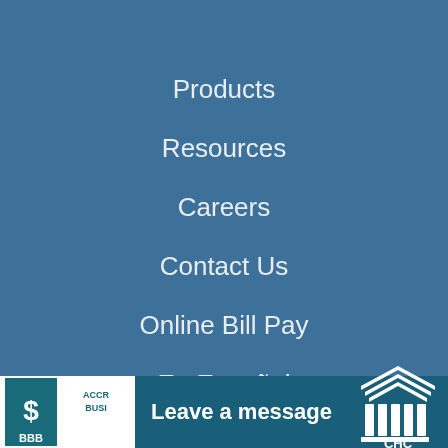Products
Resources
Careers
Contact Us
Online Bill Pay
En Español
E-Script
[Figure (logo): BBB Accredited Business logo with A+ rating]
BBB Rating: A+
Leave a message
[Figure (logo): CHC company logo with columned building icon]